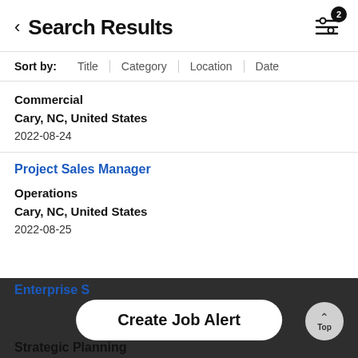Search Results
Sort by: Title | Category | Location | Date
Commercial
Cary, NC, United States
2022-08-24
Project Sales Manager
Operations
Cary, NC, United States
2022-08-25
Enterprise S...
Strategic Planning
Create Job Alert